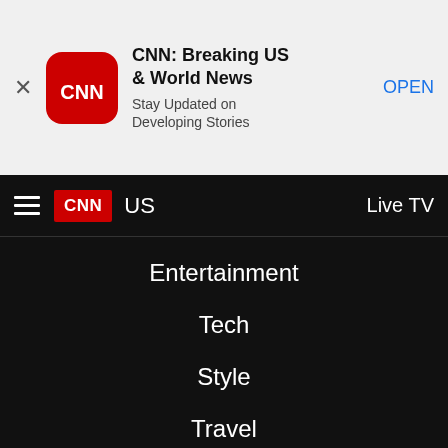[Figure (screenshot): CNN app advertisement banner with close button (X), CNN red rounded square logo, title 'CNN: Breaking US & World News', subtitle 'Stay Updated on Developing Stories', and 'OPEN' link in blue.]
CNN US  Live TV
Entertainment
Tech
Style
Travel
Sports
Videos
Features
Weather